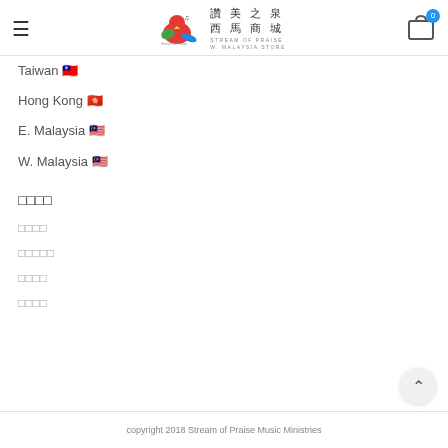讚美之泉 西馬商城 STREAM OF PRAISE W. MALAYSIA STORE
Taiwan 🇹🇼
Hong Kong 🇭🇰
E. Malaysia 🇲🇾
W. Malaysia 🇲🇾
□□□□
□□□□
□□□□□
□□□□
□□□□
copyright 2018 Stream of Praise Music Ministries